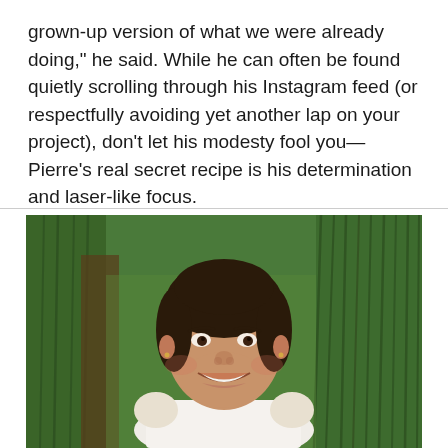grown-up version of what we were already doing," he said. While he can often be found quietly scrolling through his Instagram feed (or respectfully avoiding yet another lap on your project), don't let his modesty fool you—Pierre's real secret recipe is his determination and laser-like focus.
[Figure (photo): Portrait photo of a smiling young woman with dark hair pulled back, wearing a white lace-trim top and a necklace, photographed outdoors with green trees and hanging foliage in the background.]